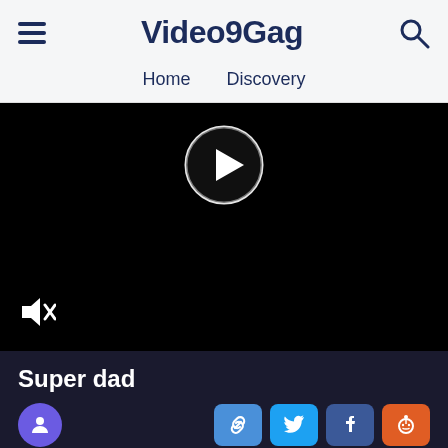Video9Gag
Home   Discovery
[Figure (screenshot): Video player area with black background, a circular play button in the upper center, and a mute icon in the lower left corner.]
Super dad
Social share buttons: link, Twitter, Facebook, Reddit